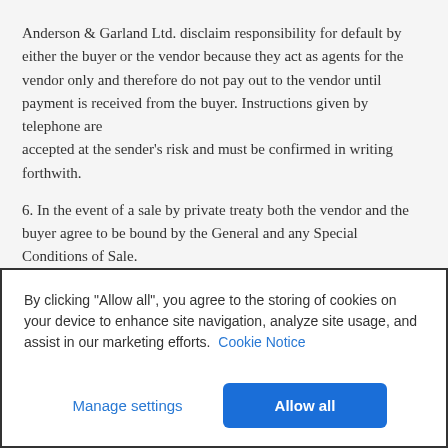Anderson & Garland Ltd. disclaim responsibility for default by either the buyer or the vendor because they act as agents for the vendor only and therefore do not pay out to the vendor until payment is received from the buyer. Instructions given by telephone are accepted at the sender's risk and must be confirmed in writing forthwith.
6. In the event of a sale by private treaty both the vendor and the buyer agree to be bound by the General and any Special Conditions of Sale.
BUYERS CONDITIONS
By clicking "Allow all", you agree to the storing of cookies on your device to enhance site navigation, analyze site usage, and assist in our marketing efforts. Cookie Notice